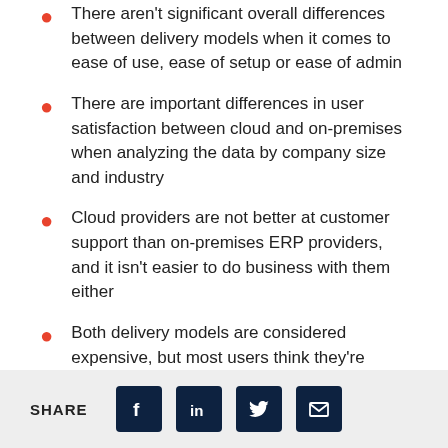There aren't significant overall differences between delivery models when it comes to ease of use, ease of setup or ease of admin
There are important differences in user satisfaction between cloud and on-premises when analyzing the data by company size and industry
Cloud providers are not better at customer support than on-premises ERP providers, and it isn't easier to do business with them either
Both delivery models are considered expensive, but most users think they're worth the investment
Before providing a detailed analysis, I'll describe my methodology. All the information used here was provided by
SHARE [Facebook] [LinkedIn] [Twitter] [Email]